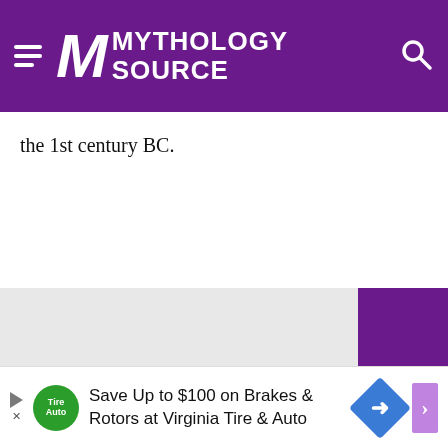Mythology Source
the 1st century BC.
[Figure (other): Advertisement banner: Save Up to $100 on Brakes & Rotors at Virginia Tire & Auto]